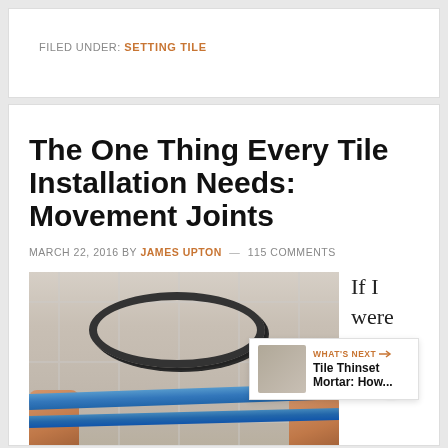FILED UNDER: SETTING TILE
The One Thing Every Tile Installation Needs: Movement Joints
MARCH 22, 2016 BY JAMES UPTON — 115 COMMENTS
[Figure (photo): Hands holding blue tile spacer strips with a coiled black cord/rope on tiled floor background]
If I were to ask
WHAT'S NEXT → Tile Thinset Mortar: How...
thing